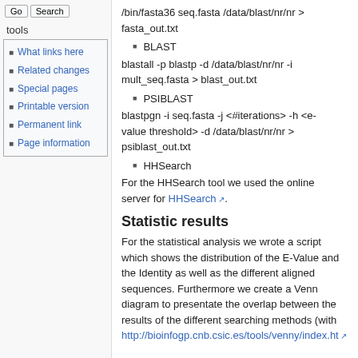/bin/fasta36 seq.fasta /data/blast/nr/nr > fasta_out.txt
BLAST
blastall -p blastp -d /data/blast/nr/nr -i mult_seq.fasta > blast_out.txt
PSIBLAST
blastpgn -i seq.fasta -j <#iterations> -h <e-value threshold> -d /data/blast/nr/nr > psiblast_out.txt
HHSearch
For the HHSearch tool we used the online server for HHSearch.
Statistic results
For the statistical analysis we wrote a script which shows the distribution of the E-Value and the Identity as well as the different aligned sequences. Furthermore we create a Venn diagram to presentate the overlap between the results of the different searching methods (with http://bioinfogp.cnb.csic.es/tools/venny/index.ht
What links here
Related changes
Special pages
Printable version
Permanent link
Page information